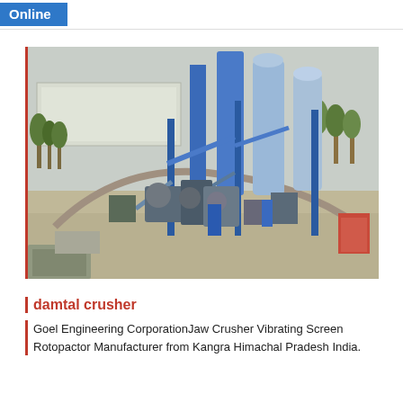Online
[Figure (photo): Aerial view of an industrial crushing/processing plant with blue steel structures, large cylindrical silos, conveyors, and machinery on a construction site. Trees and buildings visible in the background.]
damtal crusher
Goel Engineering CorporationJaw Crusher Vibrating Screen Rotopactor Manufacturer from Kangra Himachal Pradesh India.